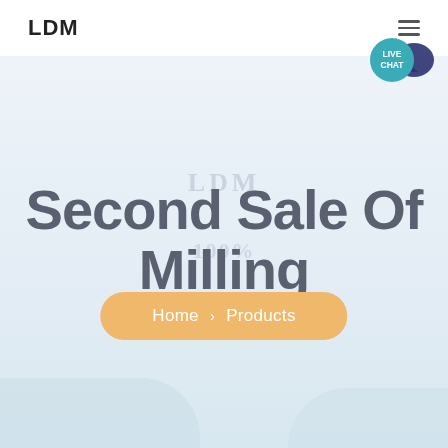LDM
[Figure (other): Live chat bubble icon in teal/blue with speech bubble graphic and text LIVE CHAT]
Second Sale Of Milling
Home > Products